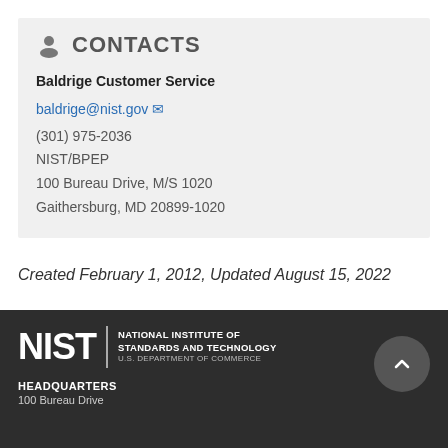CONTACTS
Baldrige Customer Service
baldrige@nist.gov
(301) 975-2036
NIST/BPEP
100 Bureau Drive, M/S 1020
Gaithersburg, MD 20899-1020
Created February 1, 2012, Updated August 15, 2022
[Figure (logo): NIST logo with text: National Institute of Standards and Technology, U.S. Department of Commerce]
HEADQUARTERS
100 Bureau Drive